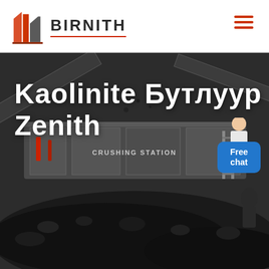[Figure (logo): Birnith company logo with orange/red building icon and brand name BIRNITH in bold capital letters]
[Figure (photo): Industrial crushing station machinery photographed at night or in low light, with large mechanical equipment, conveyor belts, and piles of crushed rock/coal in the foreground. Text 'CRUSHING STATION' visible on equipment.]
Kaolinite Бутлуур Zenith